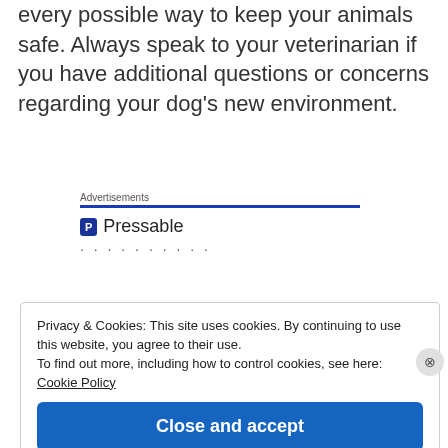every possible way to keep your animals safe. Always speak to your veterinarian if you have additional questions or concerns regarding your dog's new environment.
[Figure (screenshot): Advertisement section with Pressable logo, blue underline, and dotted loader indicator]
Privacy & Cookies: This site uses cookies. By continuing to use this website, you agree to their use.
To find out more, including how to control cookies, see here: Cookie Policy
Close and accept